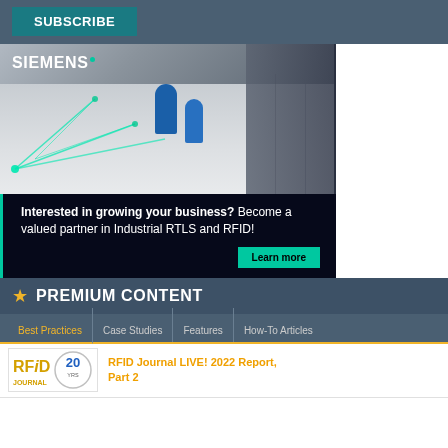SUBSCRIBE
[Figure (photo): Siemens advertisement showing a warehouse with workers in blue lab coats, green RTLS overlay lines on the floor, and shelving units. Text reads: Interested in growing your business? Become a valued partner in Industrial RTLS and RFID! with a Learn more button.]
PREMIUM CONTENT
Best Practices
Case Studies
Features
How-To Articles
RFID Journal LIVE! 2022 Report, Part 2